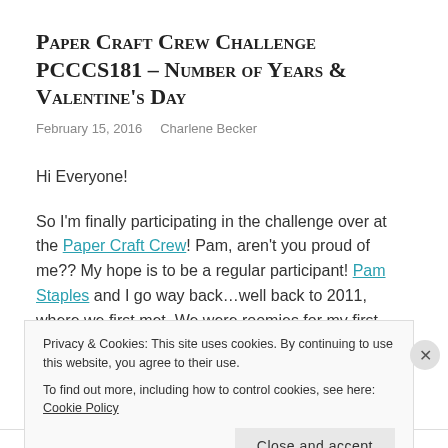Paper Craft Crew Challenge PCCC S181 – Number of Years & Valentine's Day
February 15, 2016    Charlene Becker
Hi Everyone!
So I'm finally participating in the challenge over at the Paper Craft Crew! Pam, aren't you proud of me?? My hope is to be a regular participant! Pam Staples and I go way back…well back to 2011, where we first met. We were roomies for my first Stampin' Up! Convention year, which was such a great
Privacy & Cookies: This site uses cookies. By continuing to use this website, you agree to their use. To find out more, including how to control cookies, see here: Cookie Policy
Close and accept